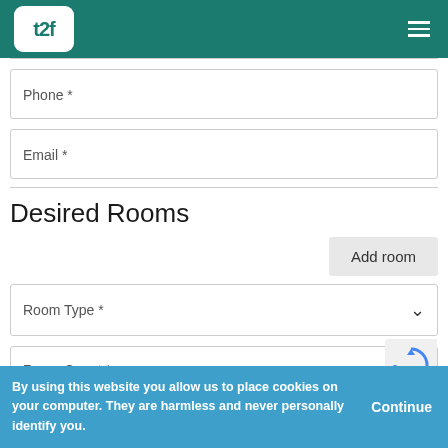[Figure (logo): t2f logo in white rounded rectangle on teal header with hamburger menu icon]
Phone *
Email *
Desired Rooms
Add room
Room Type *
Room Count *
By using this website you allow us to place cookies on your computer. They are harmless and never personally identify you.
Continue